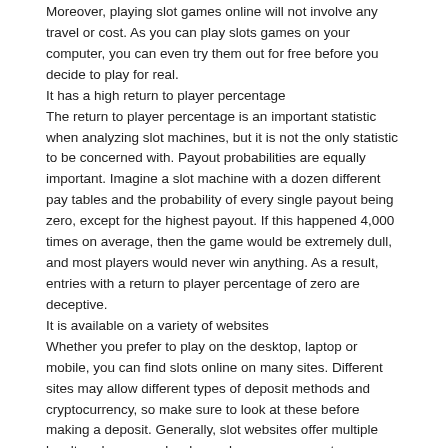Moreover, playing slot games online will not involve any travel or cost. As you can play slots games on your computer, you can even try them out for free before you decide to play for real.
It has a high return to player percentage
The return to player percentage is an important statistic when analyzing slot machines, but it is not the only statistic to be concerned with. Payout probabilities are equally important. Imagine a slot machine with a dozen different pay tables and the probability of every single payout being zero, except for the highest payout. If this happened 4,000 times on average, then the game would be extremely dull, and most players would never win anything. As a result, entries with a return to player percentage of zero are deceptive.
It is available on a variety of websites
Whether you prefer to play on the desktop, laptop or mobile, you can find slots online on many sites. Different sites may allow different types of deposit methods and cryptocurrency, so make sure to look at these before making a deposit. Generally, slot websites offer multiple loyalty schemes and welcome bonus programs to encourage players to sign up. Just make sure to read their terms and conditions to see if you qualify for these offers.
admin | 08/14/2022 | 0 comments
What to Expect When You Play the Lotto
[Figure (photo): Thumbnail image of lottery tickets on a wooden surface with colorful lottery card visible]